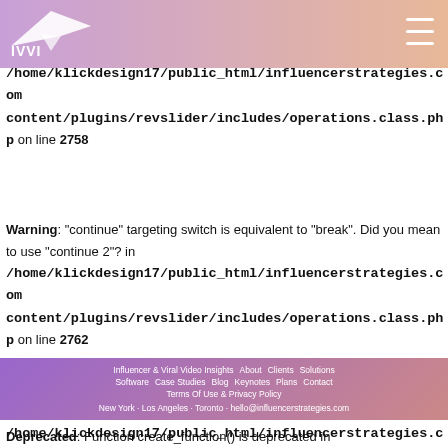IVVI logo and hamburger menu
Warning: "continue" targeting switch is equivalent to "break". Did you mean to use "continue 2"? in /home/klickdesign17/public_html/influencerstrategies.com/content/plugins/revslider/includes/operations.class.php on line 2758
Warning: "continue" targeting switch is equivalent to "break". Did you mean to use "continue 2"? in /home/klickdesign17/public_html/influencerstrategies.com/content/plugins/revslider/includes/operations.class.php on line 2762
Warning: "continue" targeting switch is equivalent to "break". Did you mean to use "continue 2"? in /home/klickdesign17/public_html/influencerstrategies.com/content/plugins/revslider/includes/operations.class.php on line 3706
Influencer & Viral Video Insights | About | Clients | Solutions | Software | Case Studies | Blog | Keynotes | Plans | Contact | Terms Of Use & Privacy Policy | New York · Los Angeles · Toronto · hello@influencerstrategies.com
Deprecated: Function create_function() is deprecated in